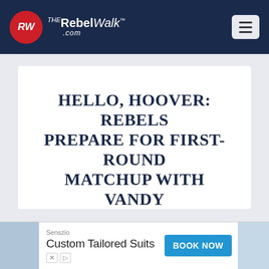The Rebel Walk .com — navigation header with hamburger menu
HELLO, HOOVER: REBELS PREPARE FOR FIRST-ROUND MATCHUP WITH VANDY
Posted by Austin Eldridge | May 23, 2022 | Baseball
[Figure (other): Advertisement banner: Senszio Custom Tailored Suits with BOOK NOW button]